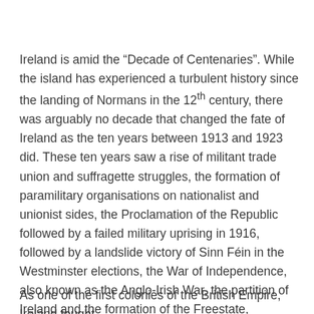Ireland is amid the “Decade of Centenaries”. While the island has experienced a turbulent history since the landing of Normans in the 12th century, there was arguably no decade that changed the fate of Ireland as the ten years between 1913 and 1923 did. These ten years saw a rise of militant trade union and suffragette struggles, the formation of paramilitary organisations on nationalist and unionist sides, the Proclamation of the Republic followed by a failed military uprising in 1916, followed by a landslide victory of Sinn Féin in the Westminster elections, the War of Independence, also known as the Anglo-Irish War, the partition of Ireland and the formation of the Freestate, sectarian clashes in Belfast, and a bloody Civil War. Between 1913 and 1923, modern Ireland was founded.
As one of the first colonies of the British Empire, Ireland fought